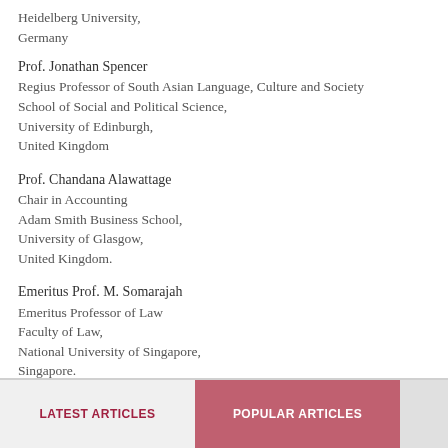Heidelberg University,
Germany
Prof. Jonathan Spencer
Regius Professor of South Asian Language, Culture and Society
School of Social and Political Science,
University of Edinburgh,
United Kingdom
Prof. Chandana Alawattage
Chair in Accounting
Adam Smith Business School,
University of Glasgow,
United Kingdom.
Emeritus Prof. M. Somarajah
Emeritus Professor of Law
Faculty of Law,
National University of Singapore,
Singapore.
LATEST ARTICLES   POPULAR ARTICLES